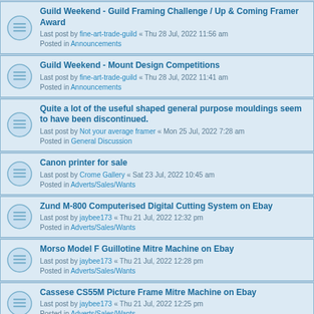Guild Weekend - Guild Framing Challenge / Up & Coming Framer Award
Last post by fine-art-trade-guild « Thu 28 Jul, 2022 11:56 am
Posted in Announcements
Guild Weekend - Mount Design Competitions
Last post by fine-art-trade-guild « Thu 28 Jul, 2022 11:41 am
Posted in Announcements
Quite a lot of the useful shaped general purpose mouldings seem to have been discontinued.
Last post by Not your average framer « Mon 25 Jul, 2022 7:28 am
Posted in General Discussion
Canon printer for sale
Last post by Crome Gallery « Sat 23 Jul, 2022 10:45 am
Posted in Adverts/Sales/Wants
Zund M-800 Computerised Digital Cutting System on Ebay
Last post by jaybee173 « Thu 21 Jul, 2022 12:32 pm
Posted in Adverts/Sales/Wants
Morso Model F Guillotine Mitre Machine on Ebay
Last post by jaybee173 « Thu 21 Jul, 2022 12:28 pm
Posted in Adverts/Sales/Wants
Cassese CS55M Picture Frame Mitre Machine on Ebay
Last post by jaybee173 « Thu 21 Jul, 2022 12:25 pm
Posted in Adverts/Sales/Wants
More Picture Framing Equipment & Materials For Sale in Sheffield
Last post by Mr.Framey « Sat 16 Jul, 2022 3:13 pm